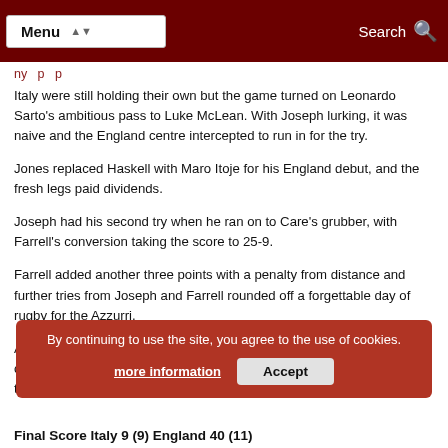Menu | Search
Italy were still holding their own but the game turned on Leonardo Sarto's ambitious pass to Luke McLean. With Joseph lurking, it was naive and the England centre intercepted to run in for the try.
Jones replaced Haskell with Maro Itoje for his England debut, and the fresh legs paid dividends.
Joseph had his second try when he ran on to Care's grubber, with Farrell's conversion taking the score to 25-9.
Farrell added another three points with a penalty from distance and further tries from Joseph and Farrell rounded off a forgettable day of rugby for the Azzurri.
After two Six Nations Championship matches England have yet to concede any which makes them strong favourites to win the title given their points differential.
By continuing to use the site, you agree to the use of cookies. more information | Accept
Final Score Italy 9 (9) England 40 (11)